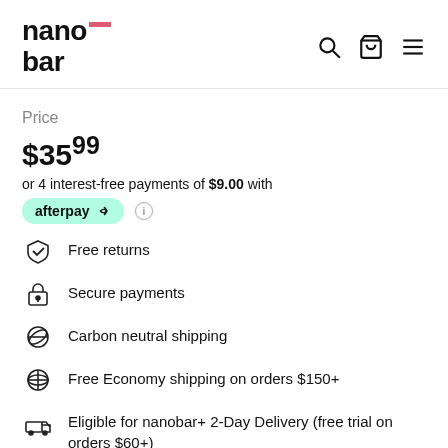nanobar
Price
$35.99
or 4 interest-free payments of $9.00 with afterpay
Free returns
Secure payments
Carbon neutral shipping
Free Economy shipping on orders $150+
Eligible for nanobar+ 2-Day Delivery (free trial on orders $60+)